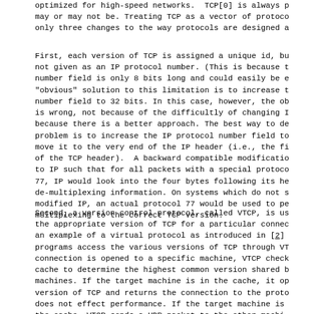optimized for high-speed networks.  TCP[0] is always p may or may not be. Treating TCP as a vector of protoco only three changes to the way protocols are designed a
First, each version of TCP is assigned a unique id, bu not given as an IP protocol number. (This is because t number field is only 8 bits long and could easily be e "obvious" solution to this limitation is to increase t number field to 32 bits. In this case, however, the ob is wrong, not because of the difficultly of changing I because there is a better approach. The best way to de problem is to increase the IP protocol number field to move it to the very end of the IP header (i.e., the fi of the TCP header).  A backward compatible modificatio to IP such that for all packets with a special protoco 77, IP would look into the four bytes following its he de-multiplexing information. On systems which do not s modified IP, an actual protocol 77 would be used to pe multiplexing to the correct TCP version.
Second, a version control protocol, called VTCP, is us the appropriate version of TCP for a particular connec an example of a virtual protocol as introduced in [2] programs access the various versions of TCP through VT connection is opened to a specific machine, VTCP check cache to determine the highest common version shared b machines. If the target machine is in the cache, it op version of TCP and returns the connection to the proto does not effect performance. If the target machine is the cache, VTCP sends a UDP packet to the other machi